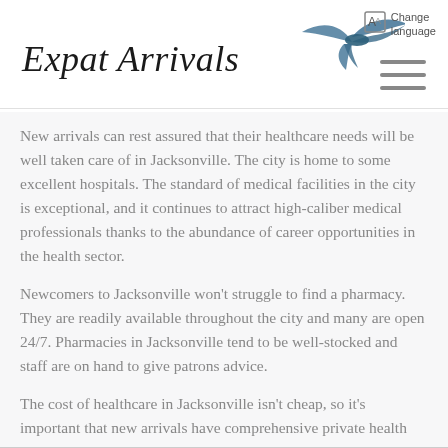Expat Arrivals
New arrivals can rest assured that their healthcare needs will be well taken care of in Jacksonville. The city is home to some excellent hospitals. The standard of medical facilities in the city is exceptional, and it continues to attract high-caliber medical professionals thanks to the abundance of career opportunities in the health sector.
Newcomers to Jacksonville won't struggle to find a pharmacy. They are readily available throughout the city and many are open 24/7. Pharmacies in Jacksonville tend to be well-stocked and staff are on hand to give patrons advice.
The cost of healthcare in Jacksonville isn't cheap, so it's important that new arrivals have comprehensive private health insurance in place.